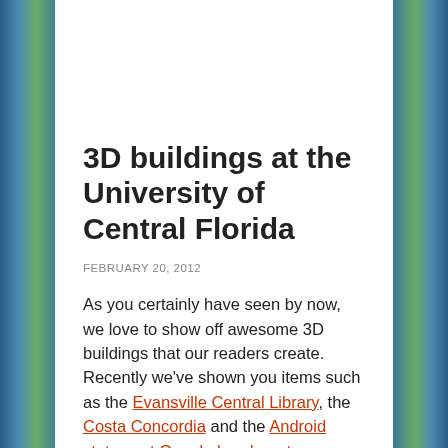3D buildings at the University of Central Florida
FEBRUARY 20, 2012
As you certainly have seen by now, we love to show off awesome 3D buildings that our readers create. Recently we've shown you items such as the Evansville Central Library, the Costa Concordia and the Android statues at Google headquarters.